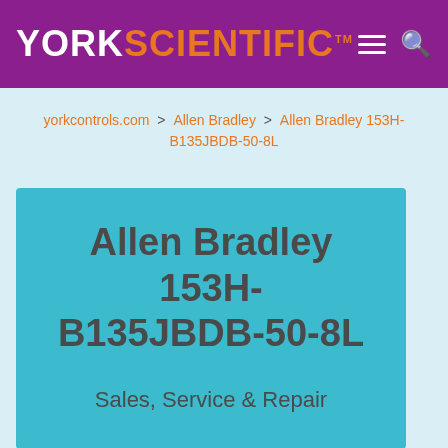YORK SCIENTIFIC
yorkcontrols.com > Allen Bradley > Allen Bradley 153H-B135JBDB-50-8L
Allen Bradley 153H-B135JBDB-50-8L
Sales, Service & Repair